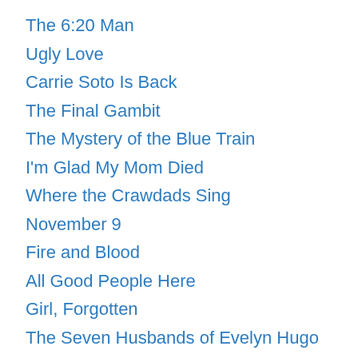The 6:20 Man
Ugly Love
Carrie Soto Is Back
The Final Gambit
The Mystery of the Blue Train
I'm Glad My Mom Died
Where the Crawdads Sing
November 9
Fire and Blood
All Good People Here
Girl, Forgotten
The Seven Husbands of Evelyn Hugo
Fear Thy Neighbor